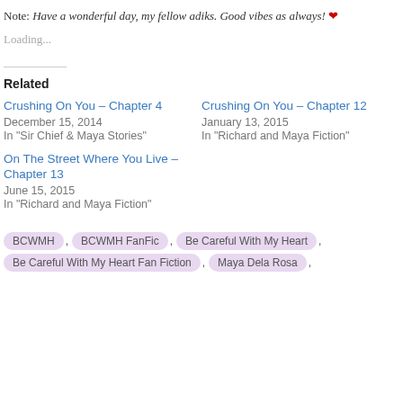Note: Have a wonderful day, my fellow adiks. Good vibes as always! ❤
Loading...
Related
Crushing On You – Chapter 4
December 15, 2014
In "Sir Chief & Maya Stories"
Crushing On You – Chapter 12
January 13, 2015
In "Richard and Maya Fiction"
On The Street Where You Live – Chapter 13
June 15, 2015
In "Richard and Maya Fiction"
BCWMH , BCWMH FanFic , Be Careful With My Heart , Be Careful With My Heart Fan Fiction , Maya Dela Rosa ,